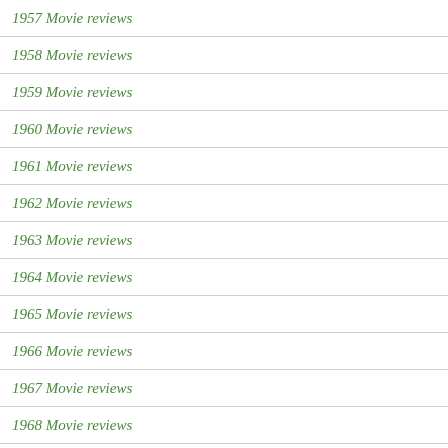1957 Movie reviews
1958 Movie reviews
1959 Movie reviews
1960 Movie reviews
1961 Movie reviews
1962 Movie reviews
1963 Movie reviews
1964 Movie reviews
1965 Movie reviews
1966 Movie reviews
1967 Movie reviews
1968 Movie reviews
1969 Movie reviews